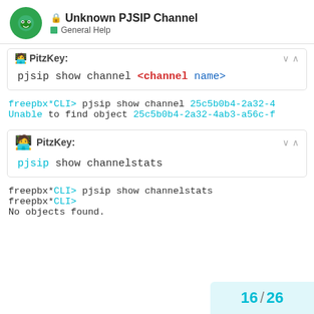Unknown PJSIP Channel — General Help
PitzKey:
[Figure (screenshot): Code block showing: pjsip show channel <channel name>]
[Figure (screenshot): CLI output: freepbx*CLI> pjsip show channel 25c5b0b4-2a32-4 / Unable to find object 25c5b0b4-2a32-4ab3-a56c-f]
PitzKey:
[Figure (screenshot): Code block showing: pjsip show channelstats]
[Figure (screenshot): CLI output: freepbx*CLI> pjsip show channelstats / freepbx*CLI> / No objects found.]
16 / 26